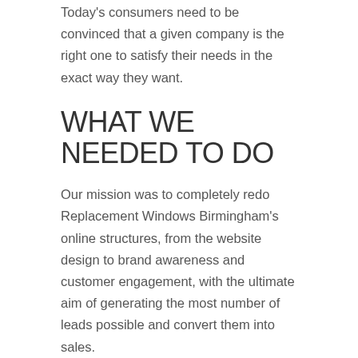Today's consumers need to be convinced that a given company is the right one to satisfy their needs in the exact way they want.
WHAT WE NEEDED TO DO
Our mission was to completely redo Replacement Windows Birmingham's online structures, from the website design to brand awareness and customer engagement, with the ultimate aim of generating the most number of leads possible and convert them into sales.
SOCIALABLE'S LEAD GENERATION